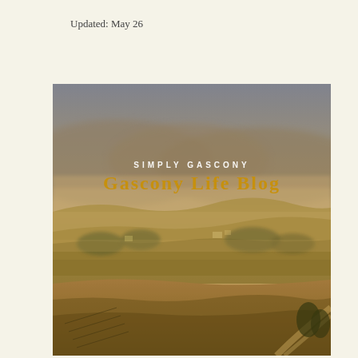Updated: May 26
[Figure (photo): Aerial landscape photograph of the Gascony countryside at golden hour, showing misty rolling hills, farmland, trees, and winding roads bathed in warm amber-brown light. Overlaid text reads 'SIMPLY GASCONY' and 'GASCONY LIFE BLOG'.]